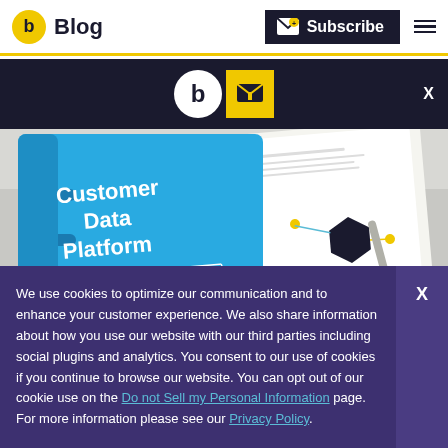Blog | Subscribe
[Figure (screenshot): Dark navigation banner with Blog logo (b circle) and yellow box with arrow icon]
[Figure (photo): Photo of a blue binder/folder labeled 'Customer Data Platform - The Ultimate Guide' lying open on a table with a pen visible]
We use cookies to optimize our communication and to enhance your customer experience. We also share information about how you use our website with our third parties including social plugins and analytics. You consent to our use of cookies if you continue to browse our website. You can opt out of our cookie use on the Do not Sell my Personal Information page. For more information please see our Privacy Policy.